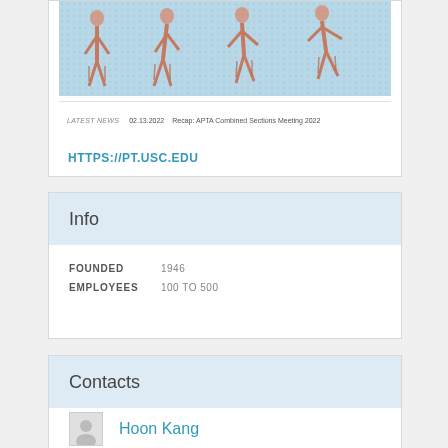[Figure (screenshot): Screenshot of pt.usc.edu website showing muscle anatomy figures and a Latest News bar with date 02.13.2022 and title 'Recap: APTA Combined Sections Meeting 2022']
HTTPS://PT.USC.EDU
Info
FOUNDED 1946
EMPLOYEES 100 TO 500
Contacts
Hoon Kang